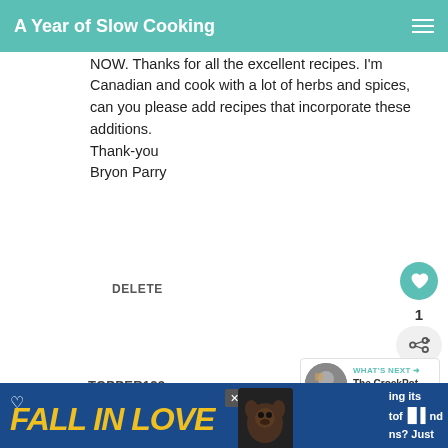A Year of Slow Cooking
pork and I can eat gallons of it. No slow cooker recipe though but cooks up fast-as you said-want it NOW. Thanks for all the excellent recipes. I'm Canadian and cook with a lot of herbs and spices, can you please add recipes that incorporate these additions.
Thank-you
Bryon Parry
DELETE
TOPPER123
8/15/2017
[Figure (screenshot): FALL IN LOVE ad banner with dog image at bottom of page]
[Figure (infographic): What's Next panel showing The CrockPot Diet with thumbnail]